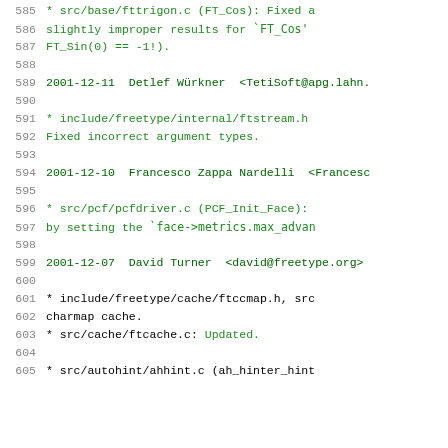585  * src/base/fttrigon.c (FT_Cos): Fixed a slightly improper results for `FT_Cos' FT_Sin(0) == -1!).
586  slightly improper results for `FT_Cos'
587  FT_Sin(0) == -1!).
588
589  2001-12-11  Detlef Würkner  <TetiSoft@apg.lahn.
590
591  * include/freetype/internal/ftstream.h Fixed incorrect argument types.
592  Fixed incorrect argument types.
593
594  2001-12-10  Francesco Zappa Nardelli  <Francesc
595
596  * src/pcf/pcfdriver.c (PCF_Init_Face): by setting the `face->metrics.max_advan
597  by setting the `face->metrics.max_advan
598
599  2001-12-07  David Turner  <david@freetype.org>
600
601  * include/freetype/cache/ftccmap.h, src charmap cache.
602  charmap cache.
603  * src/cache/ftcache.c: Updated.
604
605  * src/autohint/ahhint.c (ah_hinter_hint